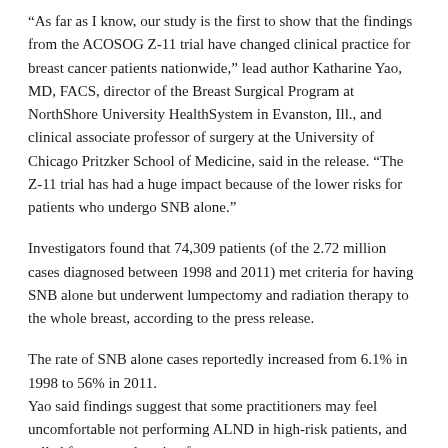“As far as I know, our study is the first to show that the findings from the ACOSOG Z-11 trial have changed clinical practice for breast cancer patients nationwide,” lead author Katharine Yao, MD, FACS, director of the Breast Surgical Program at NorthShore University HealthSystem in Evanston, Ill., and clinical associate professor of surgery at the University of Chicago Pritzker School of Medicine, said in the release. “The Z-11 trial has had a huge impact because of the lower risks for patients who undergo SNB alone.”
Investigators found that 74,309 patients (of the 2.72 million cases diagnosed between 1998 and 2011) met criteria for having SNB alone but underwent lumpectomy and radiation therapy to the whole breast, according to the press release.
The rate of SNB alone cases reportedly increased from 6.1% in 1998 to 56% in 2011.
Yao said findings suggest that some practitioners may feel uncomfortable not performing ALND in high-risk patients, and called for more education for surgeons.